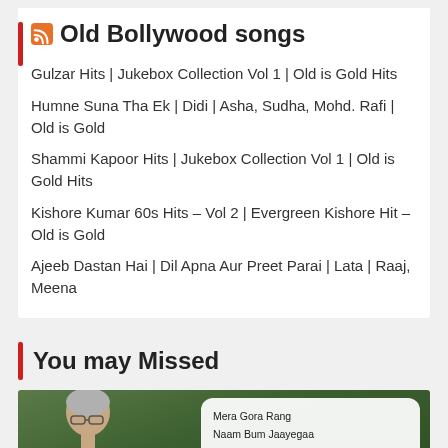Old Bollywood songs
Gulzar Hits | Jukebox Collection Vol 1 | Old is Gold Hits
Humne Suna Tha Ek | Didi | Asha, Sudha, Mohd. Rafi | Old is Gold
Shammi Kapoor Hits | Jukebox Collection Vol 1 | Old is Gold Hits
Kishore Kumar 60s Hits – Vol 2 | Evergreen Kishore Hit – Old is Gold
Ajeeb Dastan Hai | Dil Apna Aur Preet Parai | Lata | Raaj, Meena
You may Missed
[Figure (photo): Photo of an elderly man with grey hair and glasses against a green foliage background, with a song list card overlay showing: Mera Gora Rang, Naam Bum Jaayegaa, Dil Dhoonda Hai, Mera Kuch Samaan, Tujhse Naraaz, Chhod Si Kahani]